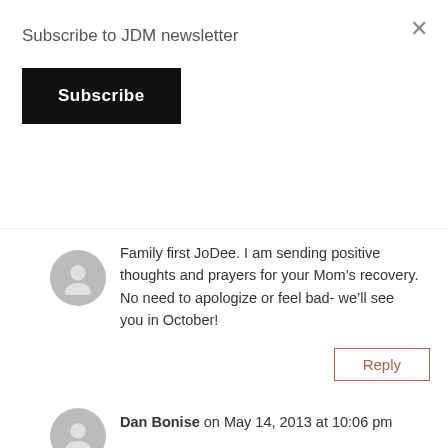Subscribe to JDM newsletter
Subscribe
Family first JoDee. I am sending positive thoughts and prayers for your Mom’s recovery. No need to apologize or feel bad- we’ll see you in October!
Reply
Dan Bonise on May 14, 2013 at 10:06 pm
People seem to forget that celebrities are also human & have personal issues that come up. Family always has to come first; that’s a very respectful decision.